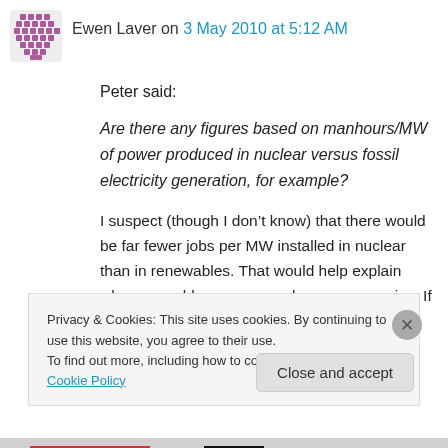[Figure (illustration): Purple mosaic/hexagonal avatar icon]
Ewen Laver on 3 May 2010 at 5:12 AM
Peter said:
Are there any figures based on manhours/MW of power produced in nuclear versus fossil electricity generation, for example?
I suspect (though I don’t know) that there would be far fewer jobs per MW installed in nuclear than in renewables. That would help explain why renewables are so much more expensive, If
Privacy & Cookies: This site uses cookies. By continuing to use this website, you agree to their use.
To find out more, including how to control cookies, see here: Cookie Policy
Close and accept